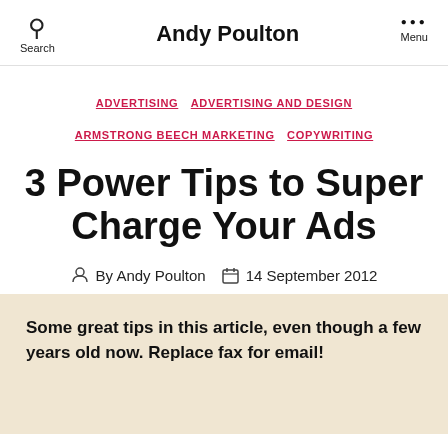Andy Poulton
ADVERTISING  ADVERTISING AND DESIGN  ARMSTRONG BEECH MARKETING  COPYWRITING
3 Power Tips to Super Charge Your Ads
By Andy Poulton  14 September 2012
Some great tips in this article, even though a few years old now. Replace fax for email!